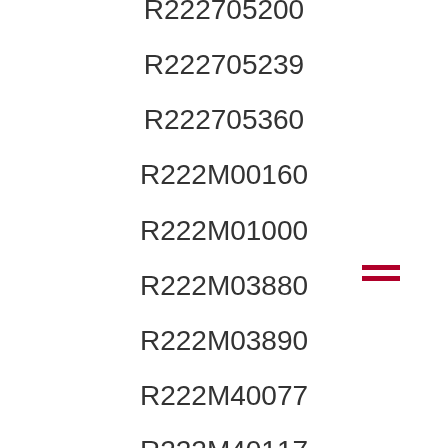R222705200
R222705239
R222705360
R222M00160
R222M01000
R222M03880
R222M03890
R222M40077
R222M40117
R222M46082
R223424000
R223424870
R223425000
R223703050
R280751000
R280752000
R296703044
R516313100
R570832010
R570J00010